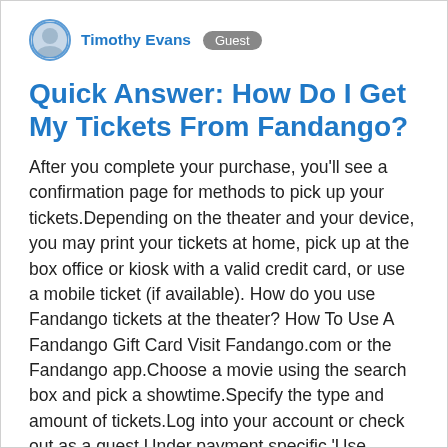Timothy Evans  Guest
Quick Answer: How Do I Get My Tickets From Fandango?
After you complete your purchase, you'll see a confirmation page for methods to pick up your tickets.Depending on the theater and your device, you may print your tickets at home, pick up at the box office or kiosk with a valid credit card, or use a mobile ticket (if available). How do you use Fandango tickets at the theater? How To Use A Fandango Gift Card Visit Fandango.com or the Fandango app.Choose a movie using the search box and pick a showtime.Specify the type and amount of tickets.Log into your account or check out as a guest.Under payment specific 'Use Fandango Gift Card'Enter the gift card number and PIN and